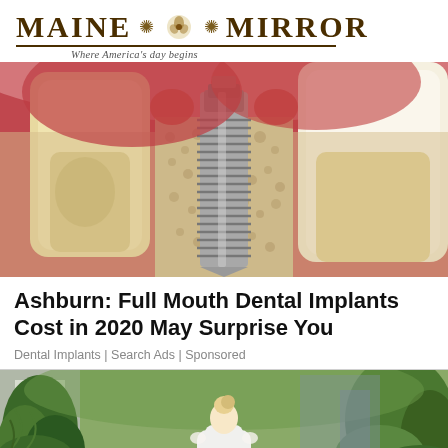MAINE MIRROR — Where America's day begins
[Figure (illustration): Cross-section medical illustration of a dental implant inserted into jawbone, showing titanium screw implant between natural teeth with red gum tissue and bone texture]
Ashburn: Full Mouth Dental Implants Cost in 2020 May Surprise You
Dental Implants | Search Ads | Sponsored
[Figure (photo): Outdoor photo of a blonde woman with hair up, wearing white, surrounded by lush green plants and garden foliage]